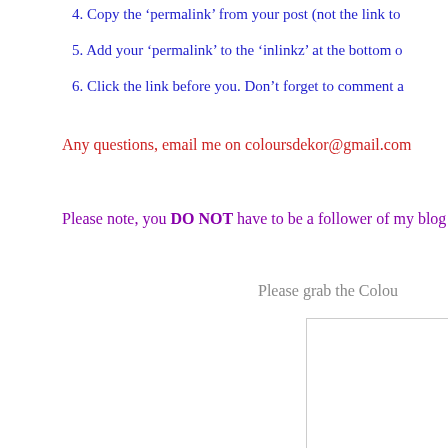4. Copy the ‘permalink’ from your post (not the link to
5. Add your ‘permalink’ to the ‘inlinkz’ at the bottom o
6. Click the link before you. Don’t forget to comment a
Any questions, email me on coloursdekor@gmail.com
Please note, you DO NOT have to be a follower of my blog
Please grab the Colou
[Figure (photo): A partially visible image in the bottom-right corner]